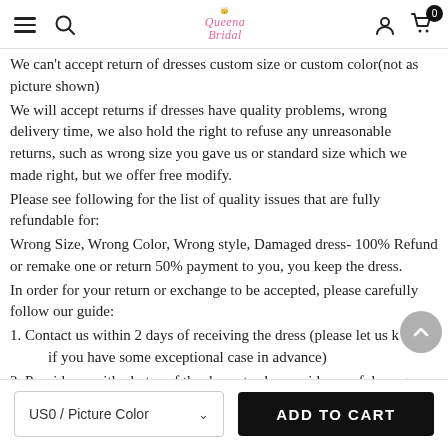Queena Bridal — navigation header with hamburger, search, logo, user, and cart icons
We can't accept return of dresses custom size or custom color(not as picture shown)
We will accept returns if dresses have quality problems, wrong delivery time, we also hold the right to refuse any unreasonable returns, such as wrong size you gave us or standard size which we made right, but we offer free modify.
Please see following for the list of quality issues that are fully refundable for:
Wrong Size, Wrong Color, Wrong style, Damaged dress- 100% Refund or remake one or return 50% payment to you, you keep the dress.
In order for your return or exchange to be accepted, please carefully follow our guide:
1. Contact us within 2 days of receiving the dress (please let us know if you have some exceptional case in advance)
2. Provide us with photos of the dress, to show evidence of damage or bad quality, this also applies for the size, or incorrect style and colour etc.long sleeve backless dresses